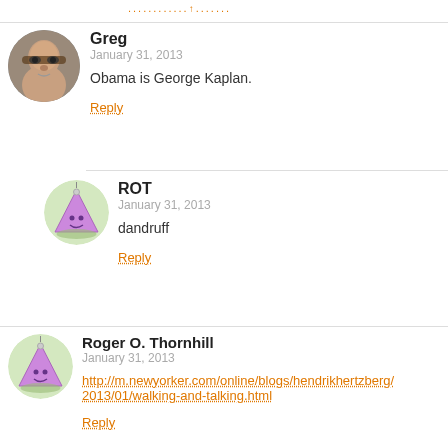............↑.....
Greg
January 31, 2013
Obama is George Kaplan.
Reply
ROT
January 31, 2013
dandruff
Reply
Roger O. Thornhill
January 31, 2013
http://m.newyorker.com/online/blogs/hendrikhertzberg/2013/01/walking-and-talking.html
Reply